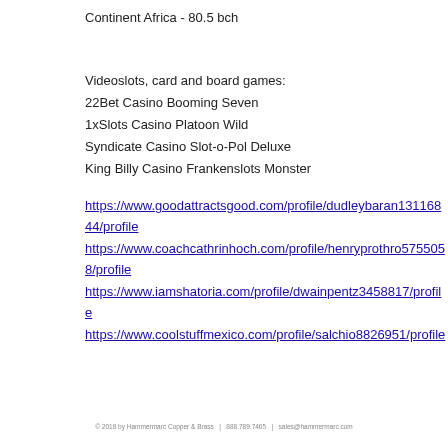Continent Africa - 80.5 bch
Videoslots, card and board games:
22Bet Casino Booming Seven
1xSlots Casino Platoon Wild
Syndicate Casino Slot-o-Pol Deluxe
King Billy Casino Frankenslots Monster
https://www.goodattractsgood.com/profile/dudleybaran13116844/profile
https://www.coachcathrinhoch.com/profile/henryprothro5755058/profile
https://www.iamshatoria.com/profile/dwainpentz3458817/profile
https://www.coolstuffmexico.com/profile/salchio8826951/profile
© 2018 by Hammermarc Copper & Brass   |   888.789.7465   |   sales@hammermarc.com